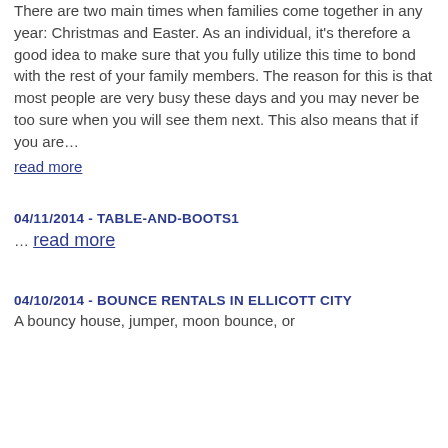There are two main times when families come together in any year: Christmas and Easter. As an individual, it's therefore a good idea to make sure that you fully utilize this time to bond with the rest of your family members. The reason for this is that most people are very busy these days and you may never be too sure when you will see them next. This also means that if you are… read more
04/11/2014 - TABLE-AND-BOOTS1
… read more
04/10/2014 - BOUNCE RENTALS IN ELLICOTT CITY
A bouncy house, jumper, moon bounce, or